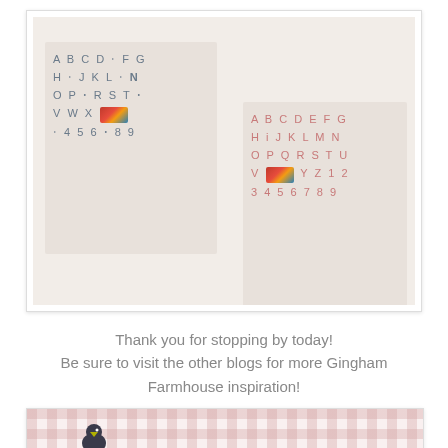[Figure (photo): Two clear plastic letter and number sticker sheets laid on a white quilted fabric background. Left sheet has grayish-blue letters A-Z and numbers 2-9. Right sheet has pink/red letters A-Z and numbers 1-9. Small patterned sticker embellishments visible on both sheets.]
Thank you for stopping by today!
Be sure to visit the other blogs for more Gingham Farmhouse inspiration!
[Figure (photo): Partial view of a second image with a pink gingham/checkered background and what appears to be a dark bird or animal figure.]